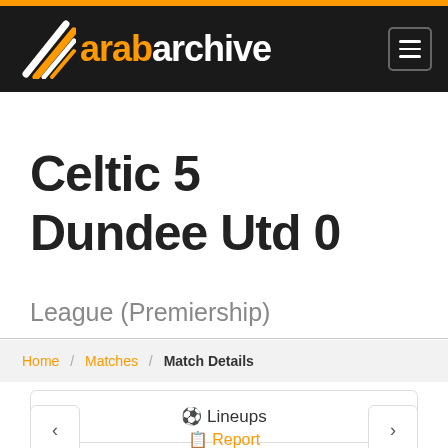arabarchive
Celtic 5 Dundee Utd 0
League (Premiership)
Home / Matches / Match Details
⚽ Lineups
📋 Report